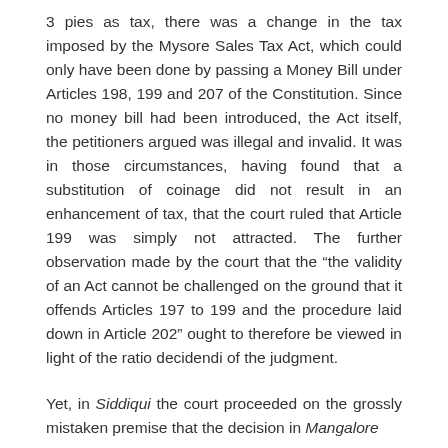3 pies as tax, there was a change in the tax imposed by the Mysore Sales Tax Act, which could only have been done by passing a Money Bill under Articles 198, 199 and 207 of the Constitution. Since no money bill had been introduced, the Act itself, the petitioners argued was illegal and invalid. It was in those circumstances, having found that a substitution of coinage did not result in an enhancement of tax, that the court ruled that Article 199 was simply not attracted. The further observation made by the court that the “the validity of an Act cannot be challenged on the ground that it offends Articles 197 to 199 and the procedure laid down in Article 202” ought to therefore be viewed in light of the ratio decidendi of the judgment.
Yet, in Siddiqui the court proceeded on the grossly mistaken premise that the decision in Mangalore